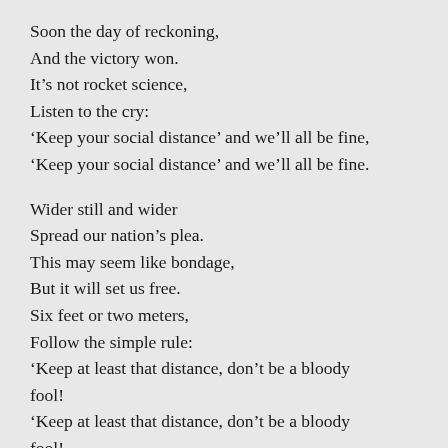Soon the day of reckoning,
And the victory won.
It’s not rocket science,
Listen to the cry:
‘Keep your social distance’ and we’ll all be fine,
‘Keep your social distance’ and we’ll all be fine.

Wider still and wider
Spread our nation’s plea.
This may seem like bondage,
But it will set us free.
Six feet or two meters,
Follow the simple rule:
‘Keep at least that distance, don’t be a bloody fool!
‘Keep at least that distance, don’t be a bloody fool!